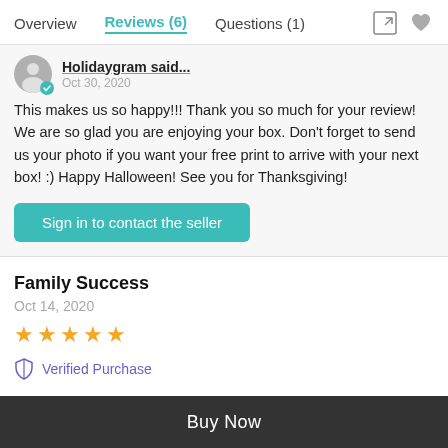Overview | Reviews (6) | Questions (1)
Holidaygram said...
Oct 30, 2020
This makes us so happy!!! Thank you so much for your review! We are so glad you are enjoying your box. Don't forget to send us your photo if you want your free print to arrive with your next box! :) Happy Halloween! See you for Thanksgiving!
Sign in to contact the seller
Family Success
Oct 14, 2020
★★★★★
Verified Purchase
Buy Now